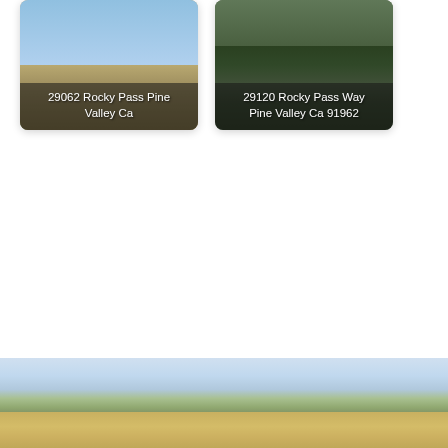[Figure (photo): Property photo card for 29062 Rocky Pass Pine Valley Ca — outdoor landscape with dirt path, shrubs, and blue sky]
29062 Rocky Pass Pine Valley Ca
[Figure (photo): Property photo card for 29120 Rocky Pass Way Pine Valley Ca 91962 — dense dark evergreen trees]
29120 Rocky Pass Way Pine Valley Ca 91962
[Figure (photo): Wide landscape photo at bottom of page showing open sky, trees, and golden grassy field]